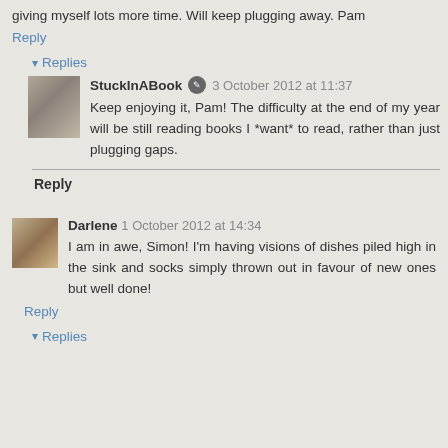giving myself lots more time. Will keep plugging away. Pam
Reply
Replies
StuckInABook  3 October 2012 at 11:37
Keep enjoying it, Pam! The difficulty at the end of my year will be still reading books I *want* to read, rather than just plugging gaps.
Reply
Darlene  1 October 2012 at 14:34
I am in awe, Simon! I'm having visions of dishes piled high in the sink and socks simply thrown out in favour of new ones but well done!
Reply
Replies